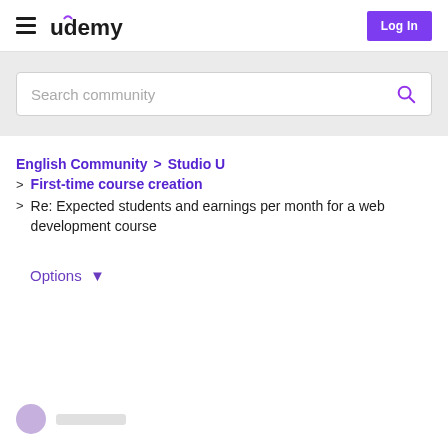Udemy — Log In
[Figure (screenshot): Search bar with placeholder text 'Search community' and a purple search icon on the right]
English Community > Studio U
> First-time course creation
> Re: Expected students and earnings per month for a web development course
Options ▾